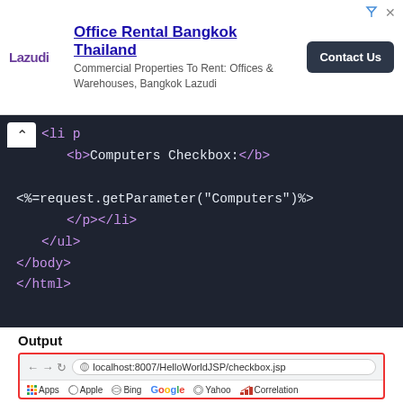[Figure (screenshot): Advertisement banner for Lazudi - Office Rental Bangkok Thailand with Contact Us button]
[Figure (screenshot): Code editor showing JSP code snippet with HTML tags including b, p, li, ul, body, html and a request.getParameter call for Computers]
Output
[Figure (screenshot): Browser preview showing localhost:8007/HelloWorldJSP/checkbox.jsp with checkboxes for Maths, Physics, Chemistry checked]